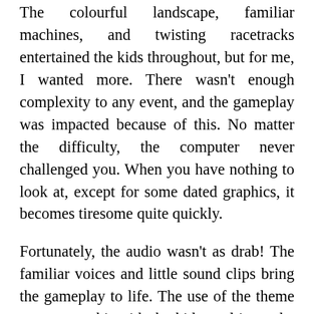The colourful landscape, familiar machines, and twisting racetracks entertained the kids throughout, but for me, I wanted more. There wasn't enough complexity to any event, and the gameplay was impacted because of this. No matter the difficulty, the computer never challenged you. When you have nothing to look at, except for some dated graphics, it becomes tiresome quite quickly.
Fortunately, the audio wasn't as drab! The familiar voices and little sound clips bring the gameplay to life. The use of the theme song was a hit with the kids, and it set the scene nicely. The engines are a little lacklustre, but they work in a childish cartoon environment. The constant chatter from each character was enough to fill the room with laughter, so 3D Clouds has got this element right.